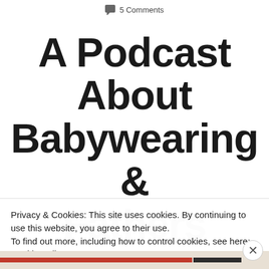5 Comments
A Podcast About Babywearing & Fathers
Privacy & Cookies: This site uses cookies. By continuing to use this website, you agree to their use.
To find out more, including how to control cookies, see here: Cookie Policy
Close and accept